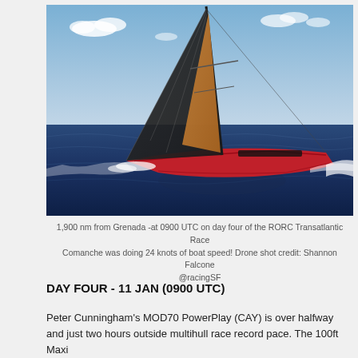[Figure (photo): Racing sailboat Comanche with black and orange sails heeling steeply, sailing fast on blue ocean with white wake, photographed from drone against blue sky with clouds.]
1,900 nm from Grenada -at 0900 UTC on day four of the RORC Transatlantic Race Comanche was doing 24 knots of boat speed! Drone shot credit: Shannon Falcone @racingSF
DAY FOUR - 11 JAN (0900 UTC)
Peter Cunningham's MOD70 PowerPlay (CAY) is over halfway and just two hours outside multihull race record pace. The 100ft Maxi